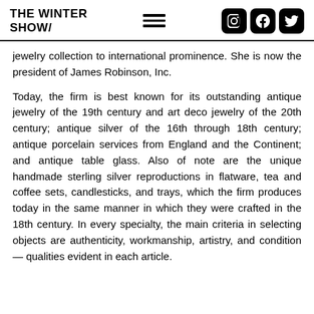THE WINTER SHOW/
jewelry collection to international prominence. She is now the president of James Robinson, Inc.
Today, the firm is best known for its outstanding antique jewelry of the 19th century and art deco jewelry of the 20th century; antique silver of the 16th through 18th century; antique porcelain services from England and the Continent; and antique table glass. Also of note are the unique handmade sterling silver reproductions in flatware, tea and coffee sets, candlesticks, and trays, which the firm produces today in the same manner in which they were crafted in the 18th century. In every specialty, the main criteria in selecting objects are authenticity, workmanship, artistry, and condition — qualities evident in each article.